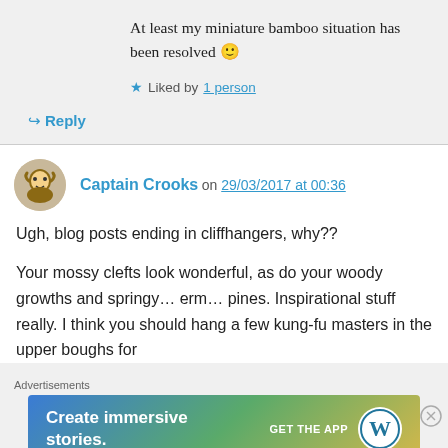At least my miniature bamboo situation has been resolved 🙂
★ Liked by 1 person
↪ Reply
Captain Crooks on 29/03/2017 at 00:36
Ugh, blog posts ending in cliffhangers, why??
Your mossy clefts look wonderful, as do your woody growths and springy… erm… pines. Inspirational stuff really. I think you should hang a few kung-fu masters in the upper boughs for
Advertisements
[Figure (screenshot): WordPress app advertisement banner: 'Create immersive stories. GET THE APP' with WordPress logo]